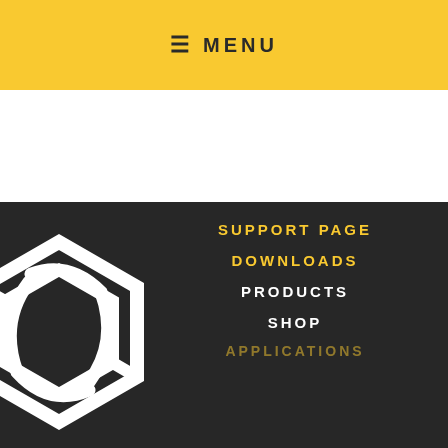≡ MENU
[Figure (logo): White geometric hexagonal/circular logo on dark background, partially visible on left side]
SUPPORT PAGE
DOWNLOADS
PRODUCTS
SHOP
APPLICATIONS
Please accept cookies to help us improve this website. Is this OK?
Yes
Manage
More on cookies »